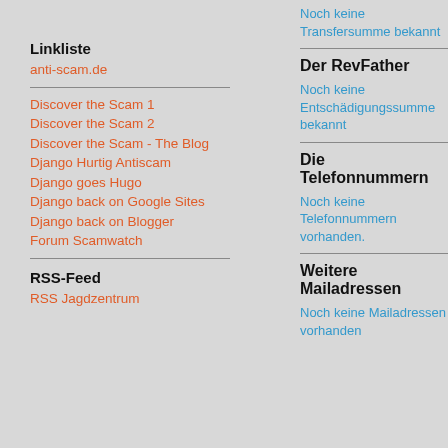Noch keine Transfersumme bekannt
Linkliste
anti-scam.de
Discover the Scam 1
Discover the Scam 2
Discover the Scam - The Blog
Django Hurtig Antiscam
Django goes Hugo
Django back on Google Sites
Django back on Blogger
Forum Scamwatch
RSS-Feed
RSS Jagdzentrum
Der RevFather
Noch keine Entschädigungssumme bekannt
Die Telefonnummern
Noch keine Telefonnummern vorhanden.
Weitere Mailadressen
Noch keine Mailadressen vorhanden